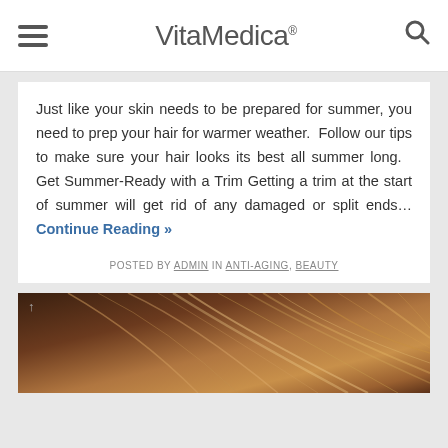VitaMedica®
Just like your skin needs to be prepared for summer, you need to prep your hair for warmer weather. Follow our tips to make sure your hair looks its best all summer long. Get Summer-Ready with a Trim Getting a trim at the start of summer will get rid of any damaged or split ends… Continue Reading »
POSTED BY ADMIN IN ANTI-AGING, BEAUTY
[Figure (photo): Photo of brown hair, likely a hair care article image]